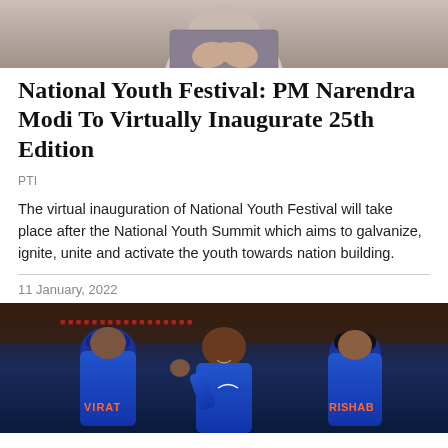[Figure (photo): Close-up of a person in a checkered jacket with hands folded, upper body visible, cropped at top of page.]
National Youth Festival: PM Narendra Modi To Virtually Inaugurate 25th Edition
PTI
The virtual inauguration of National Youth Festival will take place after the National Youth Summit which aims to galvanize, ignite, unite and activate the youth towards nation building.
11 January, 2022
[Figure (photo): Cricket players in blue India jerseys celebrating on field. Players with names VIRAT and RISHABH visible on jerseys.]